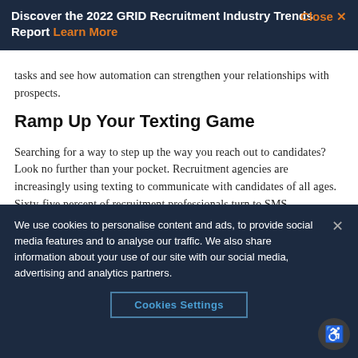Discover the 2022 GRID Recruitment Industry Trends Report Learn More  Close ×
tasks and see how automation can strengthen your relationships with prospects.
Ramp Up Your Texting Game
Searching for a way to step up the way you reach out to candidates? Look no further than your pocket. Recruitment agencies are increasingly using texting to communicate with candidates of all ages. Sixty-five percent of recruitment professionals turn to SMS
We use cookies to personalise content and ads, to provide social media features and to analyse our traffic. We also share information about your use of our site with our social media, advertising and analytics partners.
Cookies Settings